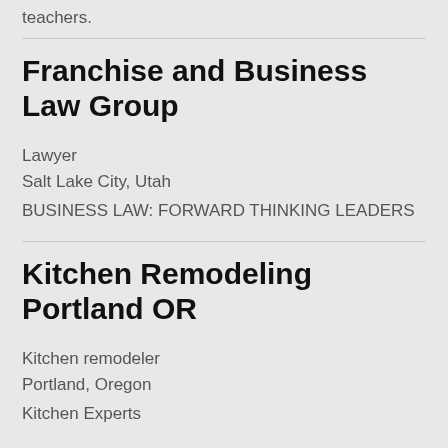teachers.
Franchise and Business Law Group
Lawyer
Salt Lake City, Utah
BUSINESS LAW: FORWARD THINKING LEADERS
Kitchen Remodeling Portland OR
Kitchen remodeler
Portland, Oregon
Kitchen Experts